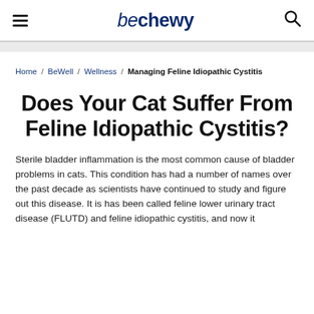be chewy
Home / BeWell / Wellness / Managing Feline Idiopathic Cystitis
Does Your Cat Suffer From Feline Idiopathic Cystitis?
Sterile bladder inflammation is the most common cause of bladder problems in cats. This condition has had a number of names over the past decade as scientists have continued to study and figure out this disease. It is has been called feline lower urinary tract disease (FLUTD) and feline idiopathic cystitis, and now it